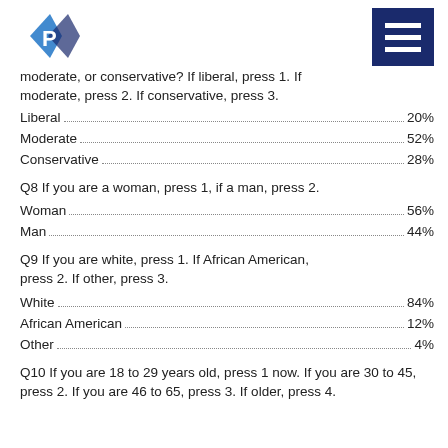[Polling logo] [Menu icon]
moderate, or conservative? If liberal, press 1. If moderate, press 2. If conservative, press 3.
Liberal ... 20%
Moderate ... 52%
Conservative ... 28%
Q8 If you are a woman, press 1, if a man, press 2.
Woman ... 56%
Man ... 44%
Q9 If you are white, press 1. If African American, press 2. If other, press 3.
White ... 84%
African American ... 12%
Other ... 4%
Q10 If you are 18 to 29 years old, press 1 now. If you are 30 to 45, press 2. If you are 46 to 65, press 3. If older, press 4.